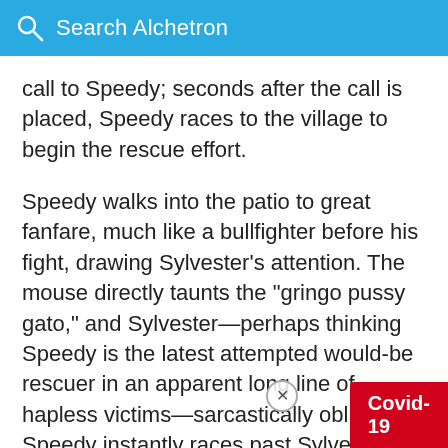Search Alchetron
call to Speedy; seconds after the call is placed, Speedy races to the village to begin the rescue effort.
Speedy walks into the patio to great fanfare, much like a bullfighter before his fight, drawing Sylvester's attention. The mouse directly taunts the "gringo pussy gato," and Sylvester—perhaps thinking Speedy is the latest attempted would-be rescuer in an apparent long line of hapless victims—sarcastically obliges. Speedy instantly races past Sylvester and rescues Manuelito; the cat's attempt to snare them in a rope trap fails, as Speedy's quick pace pulls Sylvester through the kn…
[Figure (other): Covid-19 red badge button overlay in bottom-right corner with a close (X) button]